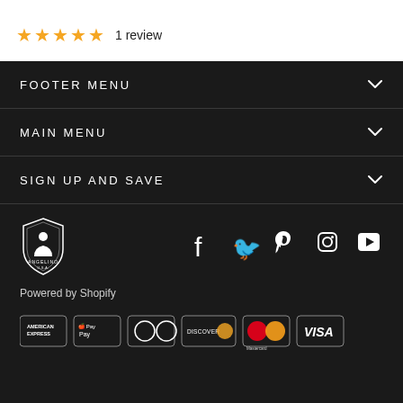★★★★★ 1 review
FOOTER MENU
MAIN MENU
SIGN UP AND SAVE
[Figure (logo): Angelino brand shield logo in white on dark background]
[Figure (infographic): Social media icons: Facebook, Twitter, Pinterest, Instagram, YouTube]
Powered by Shopify
[Figure (infographic): Payment method logos: American Express, Apple Pay, Diners Club, Discover, Mastercard, Visa]